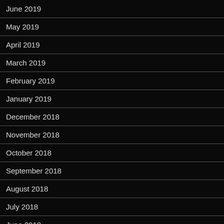June 2019
May 2019
April 2019
March 2019
February 2019
January 2019
December 2018
November 2018
October 2018
September 2018
August 2018
July 2018
June 2018